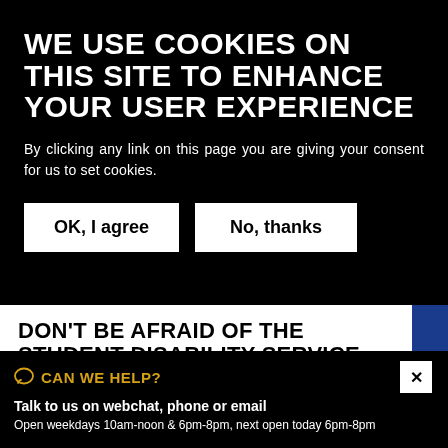WE USE COOKIES ON THIS SITE TO ENHANCE YOUR USER EXPERIENCE
By clicking any link on this page you are giving your consent for us to set cookies.
OK, I agree
No, thanks
DON'T BE AFRAID OF THE STUDENT DISABILITY SERVICE
In the first in our series of articles about
CAN WE HELP?
Talk to us on webchat, phone or email
Open weekdays 10am-noon & 6pm-8pm, next open today 6pm-8pm